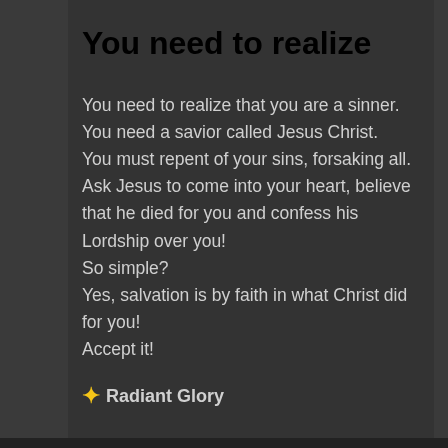You need to realize
You need to realize that you are a sinner.
You need a savior called Jesus Christ.
You must repent of your sins, forsaking all.
Ask Jesus to come into your heart, believe that he died for you and confess his Lordship over you!
So simple?
Yes, salvation is by faith in what Christ did for you!
Accept it!
⭐ Radiant Glory